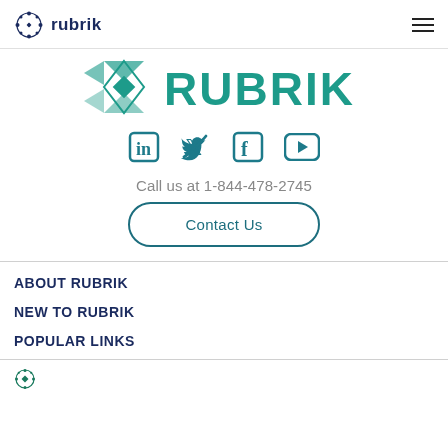rubrik
[Figure (logo): Rubrik logo large with teal geometric icon and RUBRIK text, partially cropped at top]
[Figure (infographic): Social media icons: LinkedIn, Twitter, Facebook, YouTube in teal color]
Call us at  1-844-478-2745
Contact Us
ABOUT RUBRIK
NEW TO RUBRIK
POPULAR LINKS
[Figure (logo): Rubrik small logo partially visible at bottom]